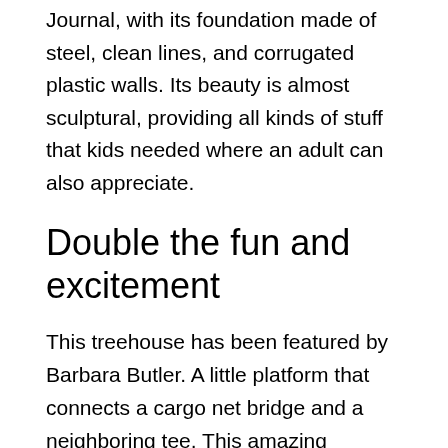Journal, with its foundation made of steel, clean lines, and corrugated plastic walls. Its beauty is almost sculptural, providing all kinds of stuff that kids needed where an adult can also appreciate.
Double the fun and excitement
This treehouse has been featured by Barbara Butler. A little platform that connects a cargo net bridge and a neighboring tee. This amazing woodland tree surely brings double fun to your kids and even the whole family.
Tree triangle